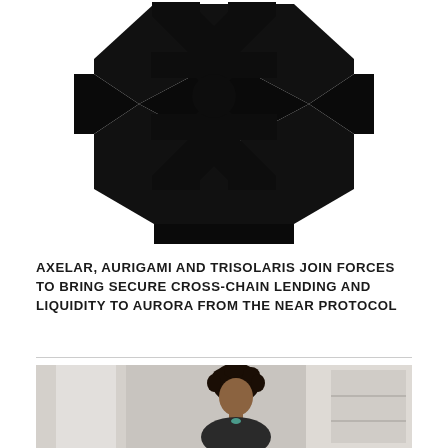[Figure (logo): Axelar logo — large black X-shaped cross/asterisk mark with pointed arrow-like ends, bold geometric symbol centered in upper portion of page]
AXELAR, AURIGAMI AND TRISOLARIS JOIN FORCES TO BRING SECURE CROSS-CHAIN LENDING AND LIQUIDITY TO AURORA FROM THE NEAR PROTOCOL
[Figure (photo): Photograph of a young person with curly dark hair, facing the camera, with a light/white background. Partial view, cropped at bottom of page.]